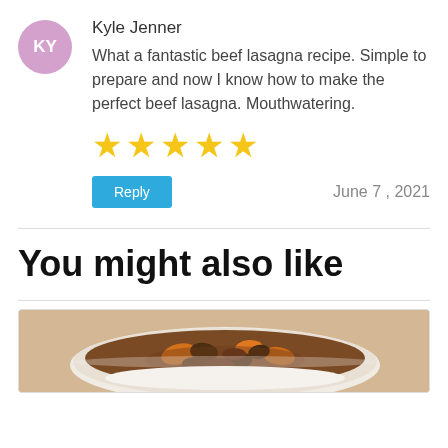KY
Kyle Jenner
What a fantastic beef lasagna recipe. Simple to prepare and now I know how to make the perfect beef lasagna. Mouthwatering.
[Figure (other): Five gold stars rating]
Reply
June 7 , 2021
You might also like
[Figure (photo): Food photo showing a bowl of beef stew with mushrooms and carrots]